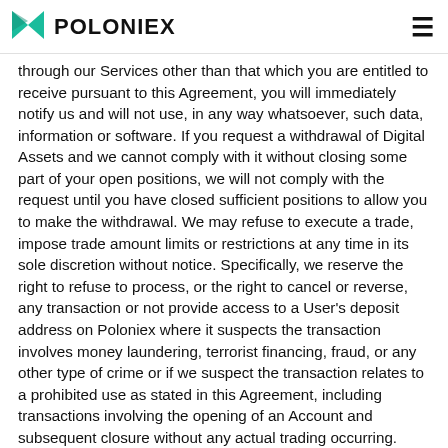POLONIEX
through our Services other than that which you are entitled to receive pursuant to this Agreement, you will immediately notify us and will not use, in any way whatsoever, such data, information or software. If you request a withdrawal of Digital Assets and we cannot comply with it without closing some part of your open positions, we will not comply with the request until you have closed sufficient positions to allow you to make the withdrawal. We may refuse to execute a trade, impose trade amount limits or restrictions at any time in its sole discretion without notice. Specifically, we reserve the right to refuse to process, or the right to cancel or reverse, any transaction or not provide access to a User's deposit address on Poloniex where it suspects the transaction involves money laundering, terrorist financing, fraud, or any other type of crime or if we suspect the transaction relates to a prohibited use as stated in this Agreement, including transactions involving the opening of an Account and subsequent closure without any actual trading occurring. Poloniex provides deposit Accounts to enable trading using the Services and does not allow Users to use such Accounts as a web wallet or address changing service. We reserve the right to halt deposit activity at our sole discretion. While Polo may in its discretion reverse a trade, a User may not change, withdraw, or cancel its